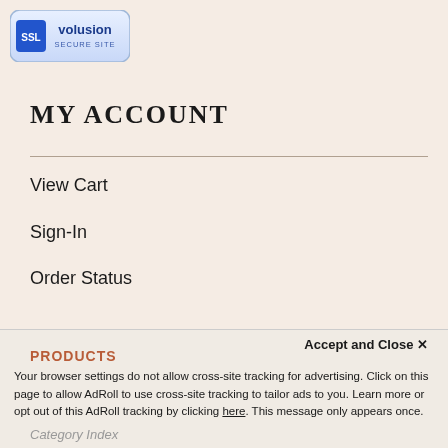[Figure (logo): SSL Volusion Secure Site badge - blue oval with SSL text and volusion branding]
MY ACCOUNT
View Cart
Sign-In
Order Status
[Figure (logo): Volusion Verified Merchant gold seal badge]
PRODUCTS
Accept and Close ✕
Your browser settings do not allow cross-site tracking for advertising. Click on this page to allow AdRoll to use cross-site tracking to tailor ads to you. Learn more or opt out of this AdRoll tracking by clicking here. This message only appears once.
Category Index